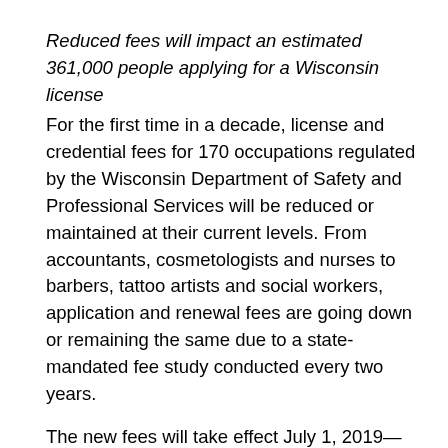Reduced fees will impact an estimated 361,000 people applying for a Wisconsin license
For the first time in a decade, license and credential fees for 170 occupations regulated by the Wisconsin Department of Safety and Professional Services will be reduced or maintained at their current levels. From accountants, cosmetologists and nurses to barbers, tattoo artists and social workers, application and renewal fees are going down or remaining the same due to a state-mandated fee study conducted every two years.
The new fees will take effect July 1, 2019—beginning with initial license applications received in the Department and/or postmarked on or after July 1, and for license renewals that have an effective date of July 1 or later. The fees are set through the next fiscal biennium, or July 1, 2021. View the